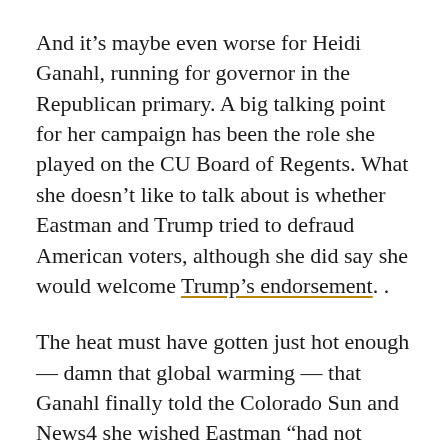And it’s maybe even worse for Heidi Ganahl, running for governor in the Republican primary. A big talking point for her campaign has been the role she played on the CU Board of Regents. What she doesn’t like to talk about is whether Eastman and Trump tried to defraud American voters, although she did say she would welcome Trump’s endorsement. .
The heat must have gotten just hot enough — damn that global warming — that Ganahl finally told the Colorado Sun and News4 she wished Eastman “had not involved CU in the whole conversation on what happened with Jan. 6 and the president. But I also believe in